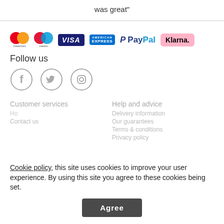was great"
[Figure (logo): Payment method logos: Mastercard, Maestro, Visa, American Express, PayPal, Klarna]
Follow us
[Figure (illustration): Social media icons: Facebook, Twitter, Instagram]
Customer services
Help and advice
Cookie policy, this site uses cookies to improve your user experience. By using this site you agree to these cookies being set.
Contact us
Delivery information
Our guarantees
Terms & conditions
Privacy policy